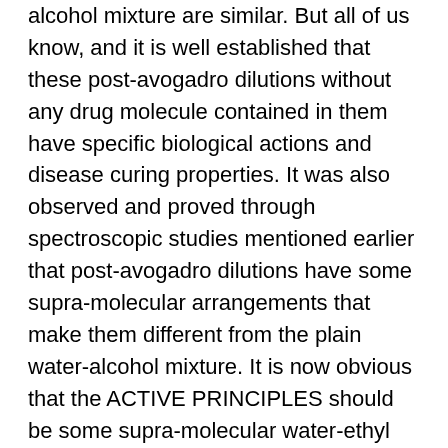alcohol mixture are similar. But all of us know, and it is well established that these post-avogadro dilutions without any drug molecule contained in them have specific biological actions and disease curing properties. It was also observed and proved through spectroscopic studies mentioned earlier that post-avogadro dilutions have some supra-molecular arrangements that make them different from the plain water-alcohol mixture. It is now obvious that the ACTIVE PRINCIPLES should be some supra-molecular water-ethyl alcohol structures formed during the process of potentization. And it is very much evident that these supra-molecular structures are not MIMICS of drug molecules, but something that can produce biological effects that are exactly OPPOSITE to the ones produced by original drug molecules.